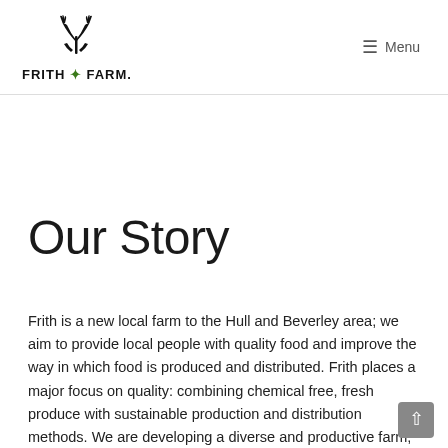FRITH FARM. Menu
Our Story
Frith is a new local farm to the Hull and Beverley area; we aim to provide local people with quality food and improve the way in which food is produced and distributed. Frith places a major focus on quality: combining chemical free, fresh produce with sustainable production and distribution methods. We are developing a diverse and productive farm; we encourage our